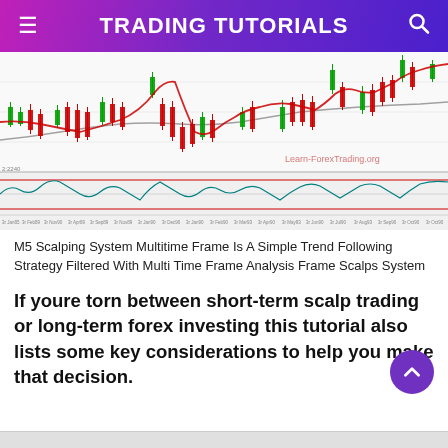TRADING TUTORIALS
[Figure (continuous-plot): Forex candlestick chart with red/green candles, moving averages (red curved line and gray/teal line), and a stochastic oscillator panel below with horizontal red overbought/oversold lines. Watermark: Learn-ForexTrading.org]
M5 Scalping System Multitime Frame Is A Simple Trend Following Strategy Filtered With Multi Time Frame Analysis Frame Scalps System
If youre torn between short-term scalp trading or long-term forex investing this tutorial also lists some key considerations to help you make that decision.